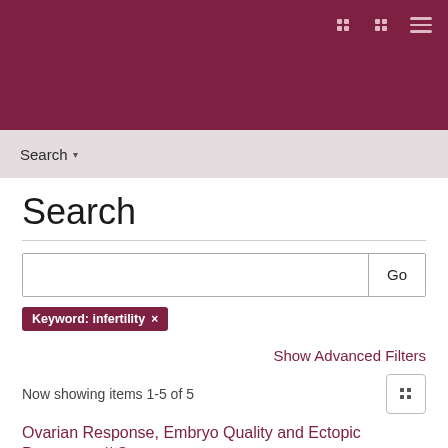Search ▾
Search
Keyword: infertility ×
Show Advanced Filters
Now showing items 1-5 of 5
Ovarian Response, Embryo Quality and Ectopic Pregnancy // Овариален отговор, качество на ембрионите и извънматочна бременност